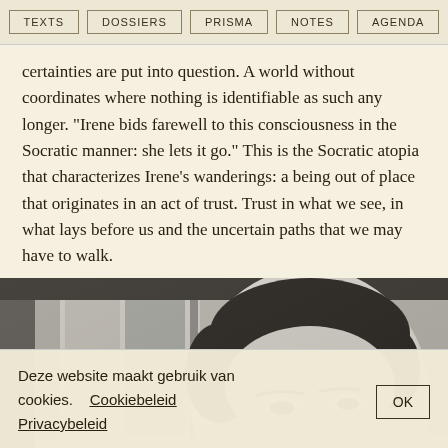TEXTS | DOSSIERS | PRISMA | NOTES | AGENDA
certainties are put into question. A world without coordinates where nothing is identifiable as such any longer. “Irene bids farewell to this consciousness in the Socratic manner: she lets it go.” This is the Socratic atopia that characterizes Irene’s wanderings: a being out of place that originates in an act of trust. Trust in what we see, in what lays before us and the uncertain paths that we may have to walk.
[Figure (photo): Black and white close-up photograph of a woman's face, looking downward, with styled hair typical of mid-20th century.]
Deze website maakt gebruik van cookies.    Cookiebeleid
Privacybeleid